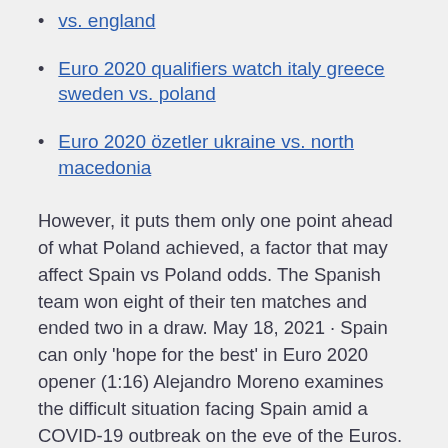vs. england
Euro 2020 qualifiers watch italy greece sweden vs. poland
Euro 2020 özetler ukraine vs. north macedonia
However, it puts them only one point ahead of what Poland achieved, a factor that may affect Spain vs Poland odds. The Spanish team won eight of their ten matches and ended two in a draw. May 18, 2021 · Spain can only 'hope for the best' in Euro 2020 opener (1:16) Alejandro Moreno examines the difficult situation facing Spain amid a COVID-19 outbreak on the eve of the Euros.